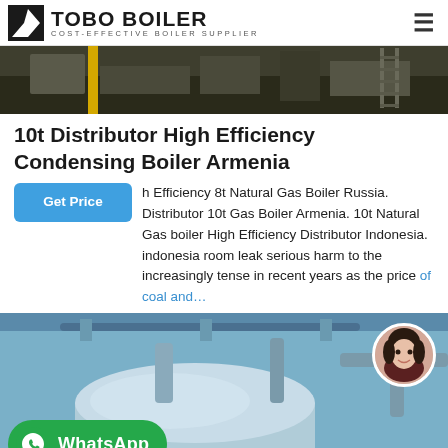TOBO BOILER — COST-EFFECTIVE BOILER SUPPLIER
[Figure (photo): Industrial boiler equipment in a factory setting — top banner image]
10t Distributor High Efficiency Condensing Boiler Armenia
h Efficiency 8t Natural Gas Boiler Russia. Distributor 10t Gas Boiler Armenia. 10t Natural Gas boiler High Efficiency Distributor Indonesia. indonesia room leak serious harm to the increasingly tense in recent years as the price of coal and…
[Figure (photo): Industrial boiler tanks and piping in a factory — with WhatsApp button overlay and customer service avatar]